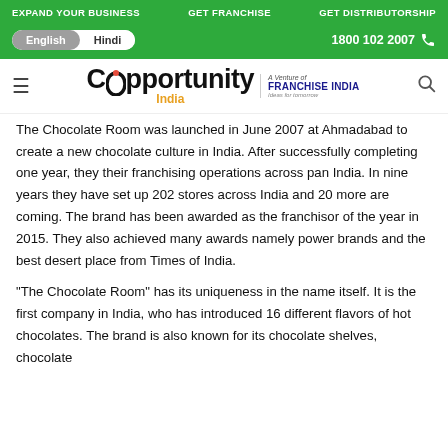EXPAND YOUR BUSINESS   GET FRANCHISE   GET DISTRIBUTORSHIP
English  Hindi   1800 102 2007
[Figure (logo): Opportunity India logo with 'A Venture of FRANCHISE INDIA' badge]
The Chocolate Room was launched in June 2007 at Ahmadabad to create a new chocolate culture in India. After successfully completing one year, they their franchising operations across pan India. In nine years they have set up 202 stores across India and 20 more are coming. The brand has been awarded as the franchisor of the year in 2015. They also achieved many awards namely power brands and the best desert place from Times of India.
"The Chocolate Room" has its uniqueness in the name itself. It is the first company in India, who has introduced 16 different flavors of hot chocolates. The brand is also known for its chocolate shelves, chocolate...